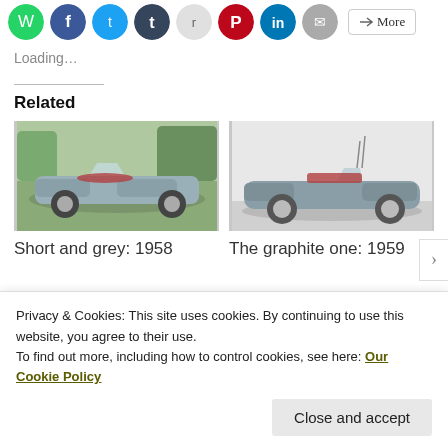[Figure (other): Row of social media sharing icons (WhatsApp green, Facebook blue, Twitter blue, Tumblr dark blue, Reddit grey, Pinterest red, LinkedIn blue, Email grey) and a More button]
Loading…
Related
[Figure (photo): A grey convertible classic car (1958) photographed from front-left angle on a grassy driveway]
[Figure (photo): A grey convertible classic car (1959) photographed from the side on a paved surface]
Short and grey: 1958
The graphite one: 1959
Privacy & Cookies: This site uses cookies. By continuing to use this website, you agree to their use.
To find out more, including how to control cookies, see here: Our Cookie Policy
Close and accept